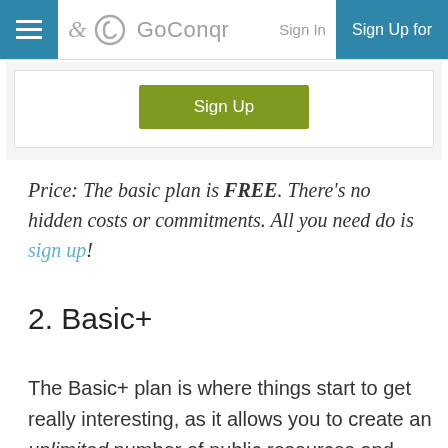GoConqr — Sign In | Sign Up for
[Figure (screenshot): Card with a green Sign Up button]
Price: The basic plan is FREE. There's no hidden costs or commitments. All you need do is sign up!
2. Basic+
The Basic+ plan is where things start to get really interesting, as it allows you to create an unlimited number of public resources and